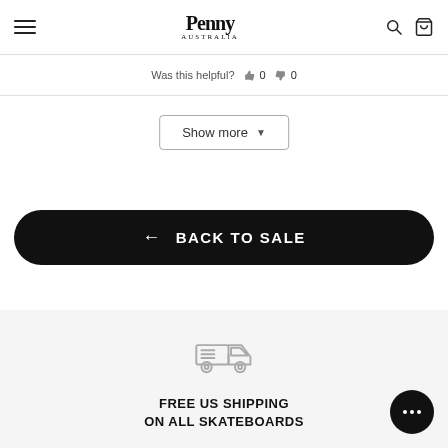Penny Australia navigation bar with hamburger menu, Penny logo, search and cart icons
Was this helpful? 👍 0 👎 0
Show more ▼
← BACK TO SALE
[Figure (illustration): Delivery truck icon (outline style)]
FREE US SHIPPING
ON ALL SKATEBOARDS